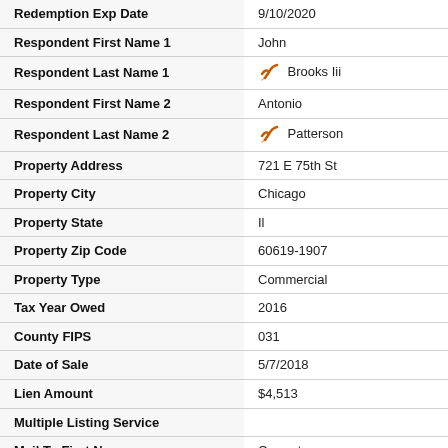| Field | Value |
| --- | --- |
| Redemption Exp Date | 9/10/2020 |
| Respondent First Name 1 | John |
| Respondent Last Name 1 | ✔ Brooks Iii |
| Respondent First Name 2 | Antonio |
| Respondent Last Name 2 | ✔ Patterson |
| Property Address | 721 E 75th St |
| Property City | Chicago |
| Property State | Il |
| Property Zip Code | 60619-1907 |
| Property Type | Commercial |
| Tax Year Owed | 2016 |
| County FIPS | 031 |
| Date of Sale | 5/7/2018 |
| Lien Amount | $4,513 |
| Multiple Listing Service |  |
| Mail To First Name | Current |
| Mail To Last Name | Resident |
| Mail To Address | 721 E 75th St |
| Mail To City | Chicago |
| Mail To State | Il |